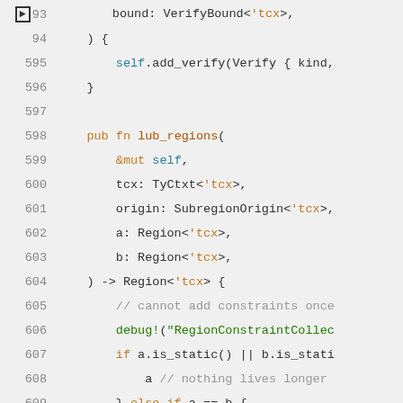Code listing showing Rust source code lines 593-611, including lub_regions function definition with parameters &mut self, tcx: TyCtxt<'tcx>, origin: SubregionOrigin<'tcx>, a: Region<'tcx>, b: Region<'tcx>, returning Region<'tcx>, with comments and conditional logic.